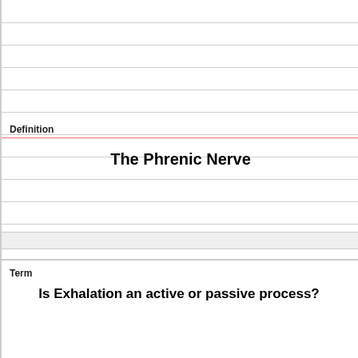Definition
The Phrenic Nerve
Term
Is Exhalation an active or passive process?